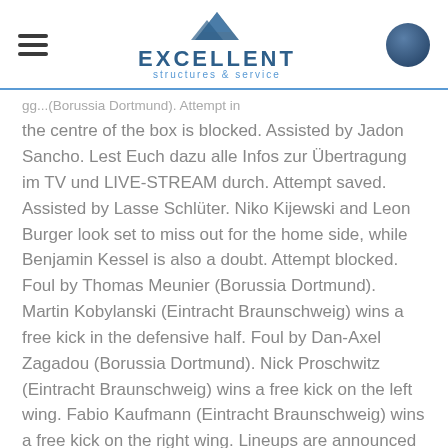EXCELLENT structures & service
gg... (Borussia Dortmund). Attempt in the centre of the box is blocked. Assisted by Jadon Sancho. Lest Euch dazu alle Infos zur Übertragung im TV und LIVE-STREAM durch. Attempt saved. Assisted by Lasse Schlüter. Niko Kijewski and Leon Burger look set to miss out for the home side, while Benjamin Kessel is also a doubt. Attempt blocked. Foul by Thomas Meunier (Borussia Dortmund). Martin Kobylanski (Eintracht Braunschweig) wins a free kick in the defensive half. Foul by Dan-Axel Zagadou (Borussia Dortmund). Nick Proschwitz (Eintracht Braunschweig) wins a free kick on the left wing. Fabio Kaufmann (Eintracht Braunschweig) wins a free kick on the right wing. Lineups are announced and players are warming up. Felix Kroos (Eintracht Braunschweig) right footed shot from outside the box is just a bit too high from a direct free kick. Here on SofaScore livescore you can